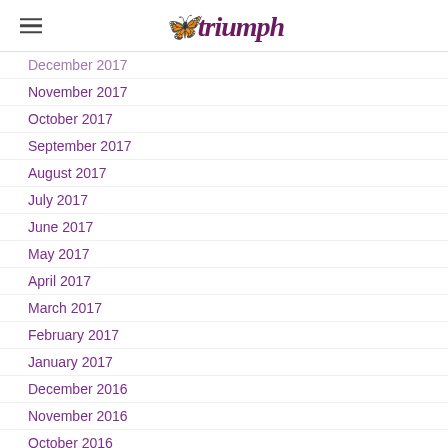triumph
December 2017
November 2017
October 2017
September 2017
August 2017
July 2017
June 2017
May 2017
April 2017
March 2017
February 2017
January 2017
December 2016
November 2016
October 2016
September 2016
August 2016
July 2016